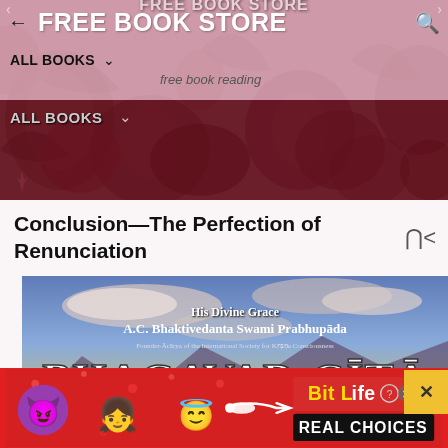FREE BOOK STORE
ALL BOOKS  free book reading
ALL BOOKS
Conclusion—The Perfection of Renunciation
[Figure (photo): Book cover of Bhagavad-Gita by His Divine Grace A.C. Bhaktivedanta Swami Prabhupada, Founder-Acarya of the International Society for Krishna Consciousness]
[Figure (photo): Advertisement banner for BitLife game showing emoji characters and text REAL CHOICES]